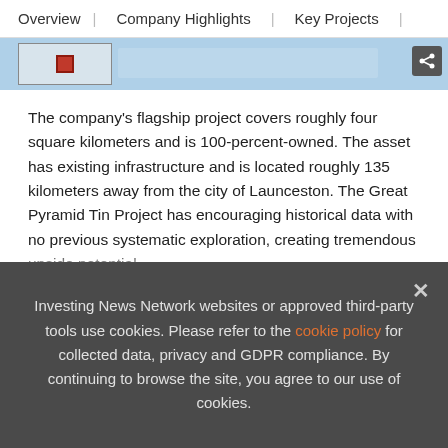Overview | Company Highlights | Key Projects |
[Figure (screenshot): Partial map image strip showing a geographic map with a red pin marker box on the left and a share icon on the right.]
The company’s flagship project covers roughly four square kilometers and is 100-percent-owned. The asset has existing infrastructure and is located roughly 135 kilometers away from the city of Launceston. The Great Pyramid Tin Project has encouraging historical data with no previous systematic exploration, creating tremendous upside potential.
Project Highlights:
Modern Exploration Techniques Applied to Historic Tin Resource: The presence of near-surface historic resources has tremendous potential. Techniques su
Investing News Network websites or approved third-party tools use cookies. Please refer to the cookie policy for collected data, privacy and GDPR compliance. By continuing to browse the site, you agree to our use of cookies.